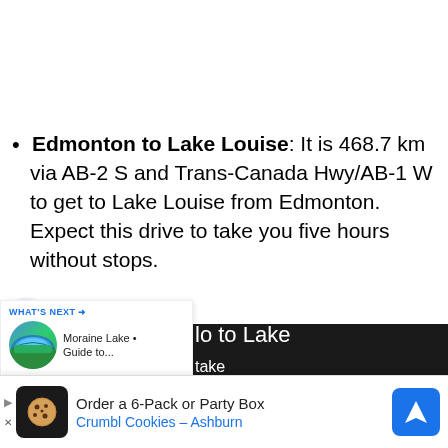Edmonton to Lake Louise: It is 468.7 km via AB-2 S and Trans-Canada Hwy/AB-1 W to get to Lake Louise from Edmonton. Expect this drive to take you five hours without stops.
...den to Lake Louise: It is 82.6 km to get from the Town of Golden, British Columbia to Lake ...[take]
[Figure (screenshot): What's Next sidebar widget showing Moraine Lake Guide link with circular thumbnail photo of a blue mountain lake]
[Figure (screenshot): Advertisement banner for Crumbl Cookies - Ashburn: Order a 6-Pack or Party Box]